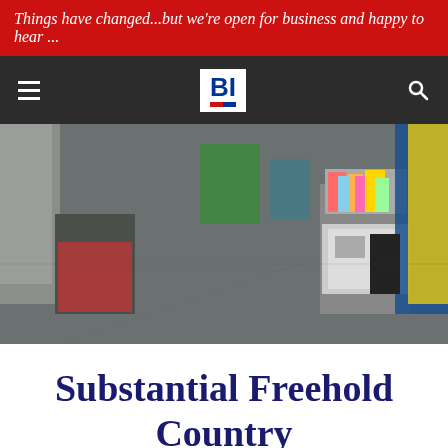Things have changed...but we're open for business and happy to hear ...
[Figure (logo): BI logo with blue bold letters and red underline bar on dark navigation bar]
[Figure (photo): Interior of a retail/discount store showing shelves and display units with various products including stationery, toys, and clothing on grey floor]
Substantial Freehold Country